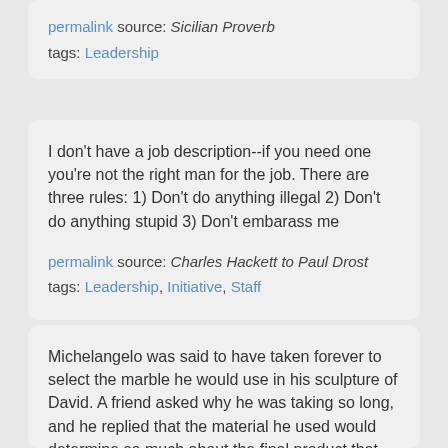permalink source: Sicilian Proverb
tags: Leadership
I don't have a job description--if you need one you're not the right man for the job. There are three rules: 1) Don't do anything illegal 2) Don't do anything stupid 3) Don't embarass me
permalink source: Charles Hackett to Paul Drost
tags: Leadership, Initiative, Staff
Michelangelo was said to have taken forever to select the marble he would use in his sculpture of David. A friend asked why he was taking so long, and he replied that the material he used would determine so much about the final product that he needed to make the right choice. God selects